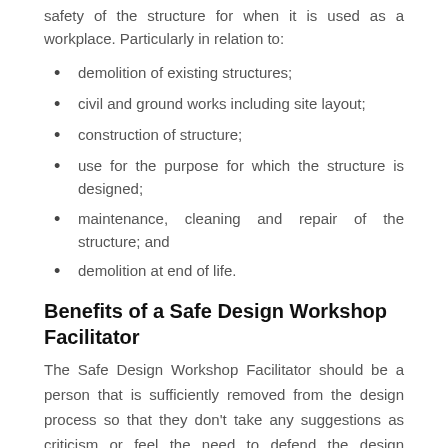safety of the structure for when it is used as a workplace. Particularly in relation to:
demolition of existing structures;
civil and ground works including site layout;
construction of structure;
use for the purpose for which the structure is designed;
maintenance, cleaning and repair of the structure; and
demolition at end of life.
Benefits of a Safe Design Workshop Facilitator
The Safe Design Workshop Facilitator should be a person that is sufficiently removed from the design process so that they don't take any suggestions as criticism or feel the need to defend the design concept.
The designer or facilitator should follow a systematic